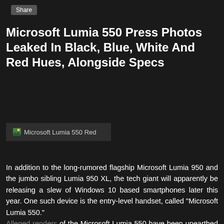[Figure (screenshot): Share button at top of article page]
Microsoft Lumia 550 Press Photos Leaked In Black, Blue, White And Red Hues, Alongside Specs
[Figure (photo): Microsoft Lumia 550 Red image placeholder]
In addition to the long-rumored flagship Microsoft Lumia 950 and the jumbo sibling Lumia 950 XL, the tech giant will apparently be releasing a slew of Windows 10 based smartphones later this year. One such device is the entry-level handset, called "Microsoft Lumia 550." Alleged renders of the Microsoft Lumia 550 have been unearthed by WMPowerUser, showcasing the handset in four colors namely Black, Blue, White and Red. Going by the leaked images, the upcoming Lumia handset does not look very different from the other entry-level handsets from Microsoft. The Lumia 550 is the successor of the well-received Lumia 540.